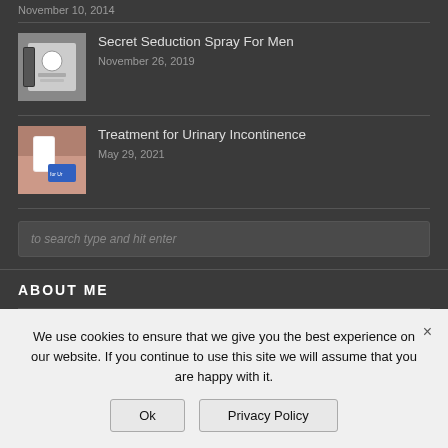November 10, 2014
[Figure (photo): Product thumbnail for Secret Seduction Spray For Men]
Secret Seduction Spray For Men
November 26, 2019
[Figure (photo): Thumbnail showing gloved hand with medical device for urinary incontinence article]
Treatment for Urinary Incontinence
May 29, 2021
to search type and hit enter
ABOUT ME
We use cookies to ensure that we give you the best experience on our website. If you continue to use this site we will assume that you are happy with it.